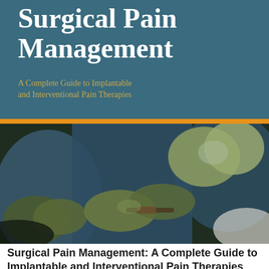Surgical Pain Management
A Complete Guide to Implantable and Interventional Pain Therapies
[Figure (photo): Surgical scene showing medical professionals in blue surgical gowns and gloves performing a procedure, hands visible handling surgical equipment]
Surgical Pain Management: A Complete Guide to Implantable and Interventional Pain Therapies eBook